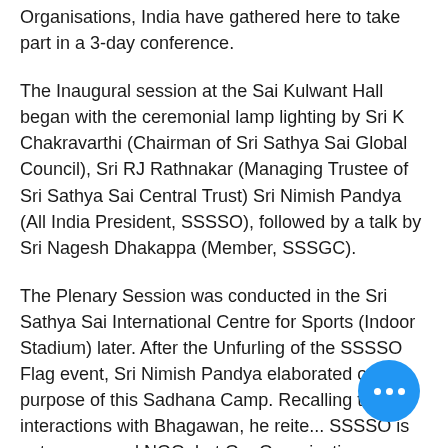Organisations, India have gathered here to take part in a 3-day conference.
The Inaugural session at the Sai Kulwant Hall began with the ceremonial lamp lighting by Sri K Chakravarthi (Chairman of Sri Sathya Sai Global Council), Sri RJ Rathnakar (Managing Trustee of Sri Sathya Sai Central Trust) Sri Nimish Pandya (All India President, SSSSO), followed by a talk by Sri Nagesh Dhakappa (Member, SSSGC).
The Plenary Session was conducted in the Sri Sathya Sai International Centre for Sports (Indoor Stadium) later. After the Unfurling of the SSSSO Flag event, Sri Nimish Pandya elaborated on the purpose of this Sadhana Camp. Recalling the interactions with Bhagawan, he reite... SSSSO is not any normal NGO, but G... Organisation.